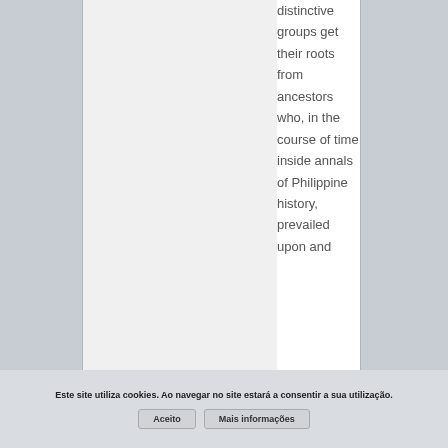distinctive groups get their roots from ancestors who, in the course of time inside annals of Philippine history, prevailed upon and
Este site utiliza cookies. Ao navegar no site estará a consentir a sua utilização.